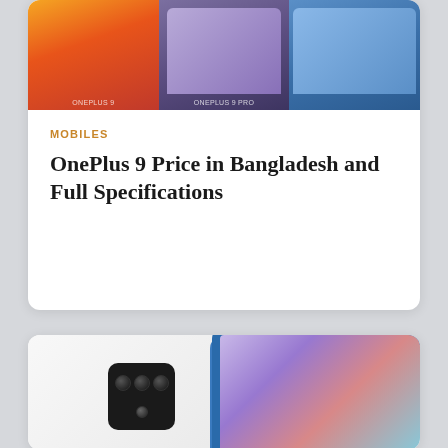[Figure (photo): Top portion of a product card showing three smartphones (OnePlus 9 variants) in orange/red, purple, and blue colorways, partially cropped at top]
MOBILES
OnePlus 9 Price in Bangladesh and Full Specifications
[Figure (photo): Bottom card showing two smartphones: a white phone with quad-camera module on the left and a blue phone with colorful gradient screen on the right, partially visible]